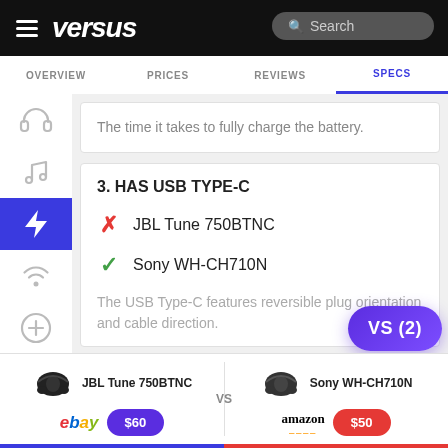versus — Search
OVERVIEW  PRICES  REVIEWS  SPECS
The time it takes to fully charge the battery.
3. HAS USB TYPE-C
✗ JBL Tune 750BTNC
✓ Sony WH-CH710N
The USB Type-C features reversible plug orientation and cable direction.
JBL Tune 750BTNC  VS  Sony WH-CH710N  |  ebay $60  |  amazon $50